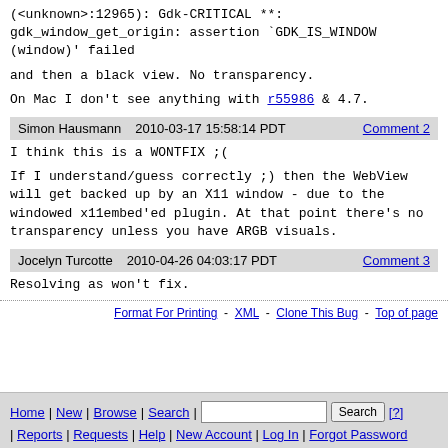(<unknown>:12965): Gdk-CRITICAL **:
gdk_window_get_origin: assertion `GDK_IS_WINDOW
(window)' failed
and then a black view. No transparency.
On Mac I don't see anything with r55986 & 4.7.
Simon Hausmann    2010-03-17 15:58:14 PDT    Comment 2
I think this is a WONTFIX ;(
If I understand/guess correctly ;) then the WebView will get backed up by an X11 window - due to the windowed x11embed'ed plugin. At that point there's no transparency unless you have ARGB visuals.
Jocelyn Turcotte    2010-04-26 04:03:17 PDT    Comment 3
Resolving as won't fix.
Format For Printing - XML - Clone This Bug - Top of page
Home | New | Browse | Search | [Search] [?] | Reports | Requests | Help | New Account | Log In | Forgot Password